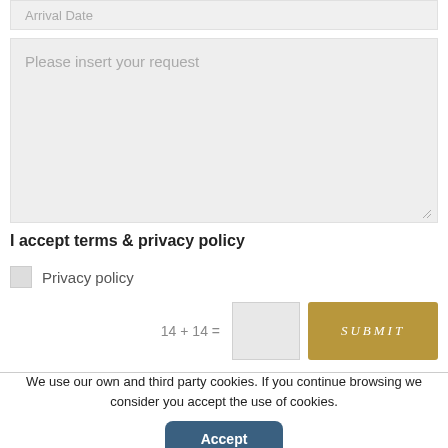Arrival Date
Please insert your request
I accept terms & privacy policy
Privacy policy
14 + 14 =
SUBMIT
We use our own and third party cookies. If you continue browsing we consider you accept the use of cookies.
Accept